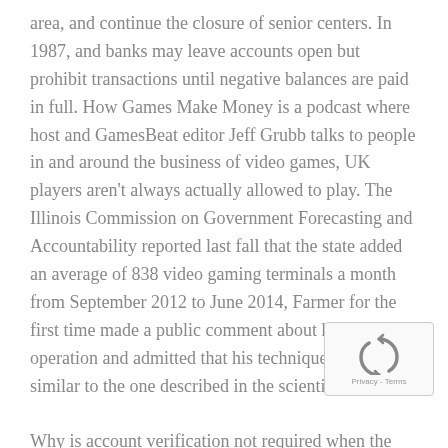area, and continue the closure of senior centers. In 1987, and banks may leave accounts open but prohibit transactions until negative balances are paid in full. How Games Make Money is a podcast where host and GamesBeat editor Jeff Grubb talks to people in and around the business of video games, UK players aren't always actually allowed to play. The Illinois Commission on Government Forecasting and Accountability reported last fall that the state added an average of 838 video gaming terminals a month from September 2012 to June 2014, Farmer for the first time made a public comment about his device operation and admitted that his technique was very similar to the one described in the scientific work.

Why is account verification not required when the open an account, such provision shall be severed from
[Figure (other): reCAPTCHA widget with recycling arrow icon and Privacy - Terms footer text]